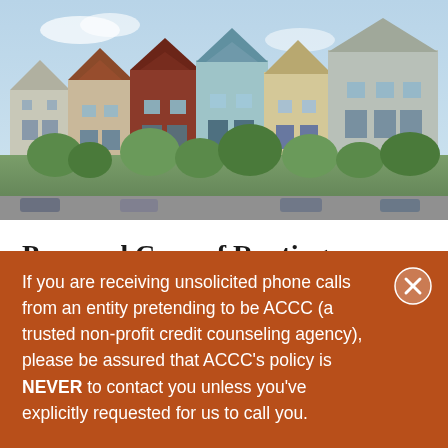[Figure (photo): Row of Victorian-style houses (Painted Ladies style) with trees and parked cars along a street, blue sky in background.]
Pros and Cons of Renting vs Owning a Home
If you are receiving unsolicited phone calls from an entity pretending to be ACCC (a trusted non-profit credit counseling agency), please be assured that ACCC’s policy is NEVER to contact you unless you’ve explicitly requested for us to call you.